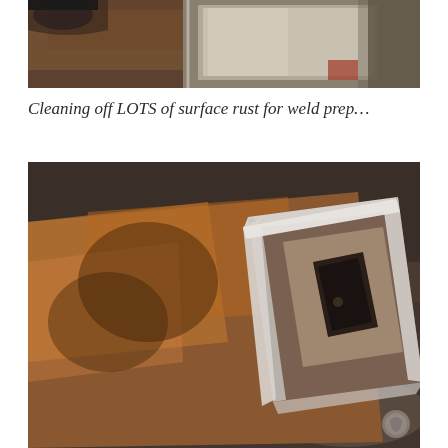[Figure (photo): Close-up photo of rusty steel surfaces and metal workshop equipment, showing surface rust on steel plates/bars]
Cleaning off LOTS of surface rust for weld prep...
[Figure (photo): Photo of a square steel tube with heavy surface rust (orange/brown), end of tube has been cleaned/ground to show bare shiny metal edges, placed on a dark metal workbench surface]